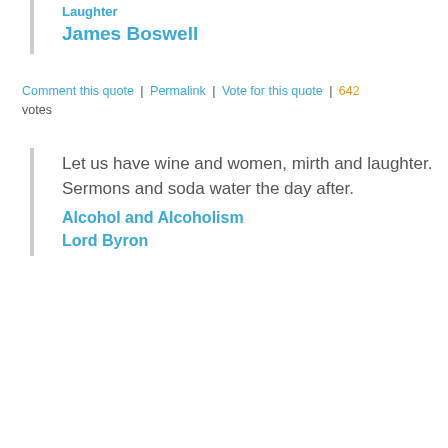Laughter
James Boswell
Comment this quote | Permalink | Vote for this quote | 642 votes
Let us have wine and women, mirth and laughter. Sermons and soda water the day after.
Alcohol and Alcoholism
Lord Byron